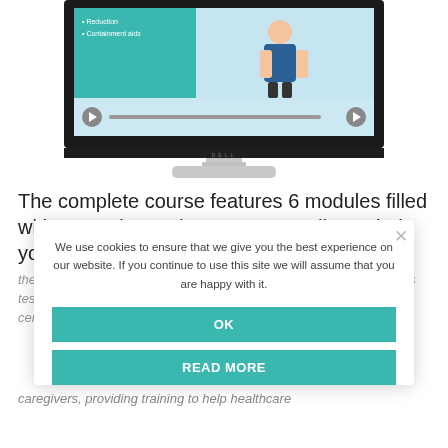[Figure (screenshot): Dell monitor displaying an e-learning course screen with a teal sidebar showing bullet points (Reduction, Containment aids) and a healthcare/doctor illustration on the right side, with playback controls at the bottom.]
The complete course features 6 modules filled with examples and uses case studies to help you understand the symptoms, impacts and treatments of continence care, as well as testing your knowledge with case studies and interactive learning. A certificate is awarded on completion of all modules.
We use cookies to ensure that we give you the best experience on our website. If you continue to use this site we will assume that you are happy with it.
OK
READ MORE
At... ...ded by Attends. They also use NDIS To... ...t help for ... or... ...ll caregivers, providing training to help healthcare